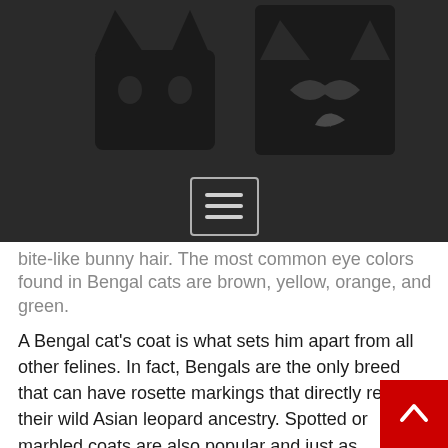[Figure (logo): Website header with dark background showing a cat silhouette logo]
[Figure (other): Navigation hamburger menu button with three horizontal lines on dark background]
bite-like bunny hair. The most common eye colors found in Bengal cats are brown, yellow, orange, and green.

A Bengal cat's coat is what sets him apart from all other felines. In fact, Bengals are the only breed that can have rosette markings that directly reflect their wild Asian leopard ancestry. Spotted or marbled coats are also popular and just as gorgeous. Because their fur is so short, they only require a weekly brushing to remove loose hair and dead skin cells. Although Bengal cats weigh about the same as a typical house cat, they're generally larger in size because of their long, muscular bodies. And their lengthy legs make them excellent jumpers, so don't be surprised if you find your Bengal staring